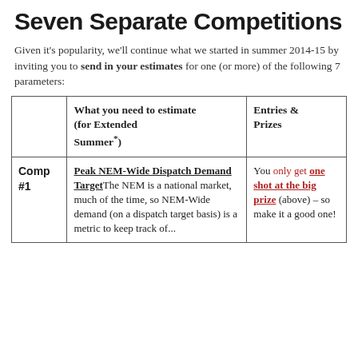Seven Separate Competitions
Given it's popularity, we'll continue what we started in summer 2014-15 by inviting you to send in your estimates for one (or more) of the following 7 parameters:
|  | What you need to estimate (for Extended Summer*) | Entries & Prizes |
| --- | --- | --- |
| Comp #1 | Peak NEM-Wide Dispatch Demand Target The NEM is a national market, much of the time, so NEM-Wide demand (on a dispatch target basis) is a metric to keep track of... | You only get one shot at the big prize (above) – so make it a good one! |